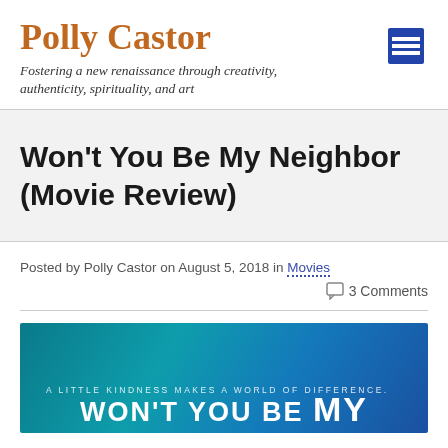Polly Castor
Fostering a new renaissance through creativity, authenticity, spirituality, and art
Won't You Be My Neighbor (Movie Review)
Posted by Polly Castor on August 5, 2018 in Movies
3 Comments
[Figure (photo): Movie poster for 'Won't You Be My Neighbor' with blue/teal gradient background. Tagline reads 'A LITTLE KINDNESS MAKES A WORLD OF DIFFERENCE.' and partial text 'WON'T YOU BE MY' visible.]